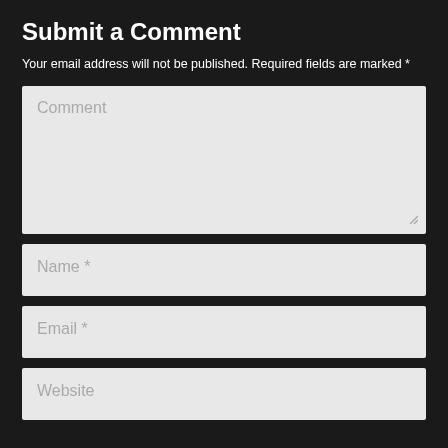Submit a Comment
Your email address will not be published. Required fields are marked *
[Figure (screenshot): Comment text area input field with placeholder text 'Comment']
[Figure (screenshot): Name input field with placeholder text 'Name *']
[Figure (screenshot): Email input field with placeholder text 'Email *']
[Figure (screenshot): Website input field with placeholder text 'Website']